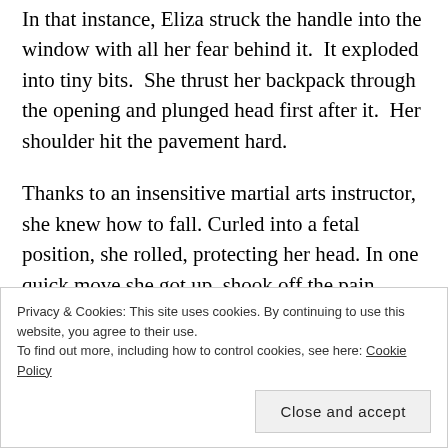In that instance, Eliza struck the handle into the window with all her fear behind it.  It exploded into tiny bits.  She thrust her backpack through the opening and plunged head first after it.  Her shoulder hit the pavement hard.
Thanks to an insensitive martial arts instructor, she knew how to fall. Curled into a fetal position, she rolled, protecting her head. In one quick move she got up, shook off the pain, grabbed the backpack, and dashed for the sidewalk and a dark alley.
Privacy & Cookies: This site uses cookies. By continuing to use this website, you agree to their use.
To find out more, including how to control cookies, see here: Cookie Policy
Close and accept